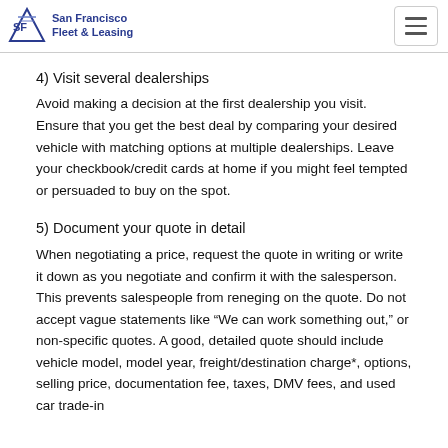San Francisco Fleet & Leasing
4) Visit several dealerships
Avoid making a decision at the first dealership you visit. Ensure that you get the best deal by comparing your desired vehicle with matching options at multiple dealerships. Leave your checkbook/credit cards at home if you might feel tempted or persuaded to buy on the spot.
5) Document your quote in detail
When negotiating a price, request the quote in writing or write it down as you negotiate and confirm it with the salesperson. This prevents salespeople from reneging on the quote. Do not accept vague statements like “We can work something out,” or non-specific quotes. A good, detailed quote should include vehicle model, model year, freight/destination charge*, options, selling price, documentation fee, taxes, DMV fees, and used car trade-in